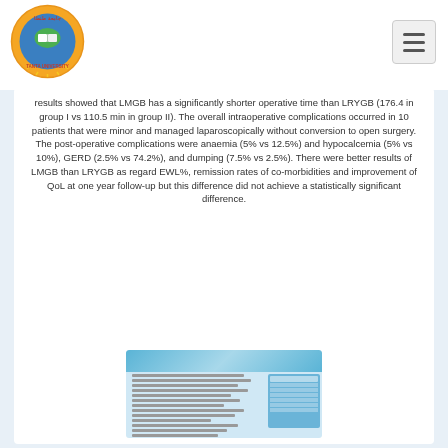[Figure (logo): Tanta University circular logo with book and Arabic text, orange and blue colors]
results showed that LMGB has a significantly shorter operative time than LRYGB (176.4 in group I vs 110.5 min in group II). The overall intraoperative complications occurred in 10 patients that were minor and managed laparoscopically without conversion to open surgery. The post-operative complications were anaemia (5% vs 12.5%) and hypocalcemia (5% vs 10%), GERD (2.5% vs 74.2%), and dumping (7.5% vs 2.5%). There were better results of LMGB than LRYGB as regard EWL%, remission rates of co-morbidities and improvement of QoL at one year follow-up but this difference did not achieve a statistically significant difference.
[Figure (screenshot): Thumbnail of a medical journal article page with blue header wave design and table content]